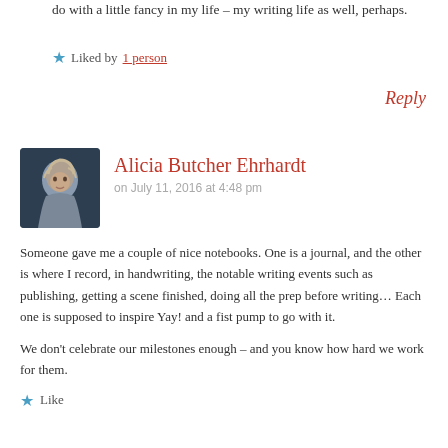do with a little fancy in my life – my writing life as well, perhaps.
★ Liked by 1 person
Reply
[Figure (photo): Avatar photo of Alicia Butcher Ehrhardt, a woman with gray-blonde hair]
Alicia Butcher Ehrhardt
on July 11, 2016 at 4:48 pm
Someone gave me a couple of nice notebooks. One is a journal, and the other is where I record, in handwriting, the notable writing events such as publishing, getting a scene finished, doing all the prep before writing… Each one is supposed to inspire Yay! and a fist pump to go with it.
We don't celebrate our milestones enough – and you know how hard we work for them.
★ Like